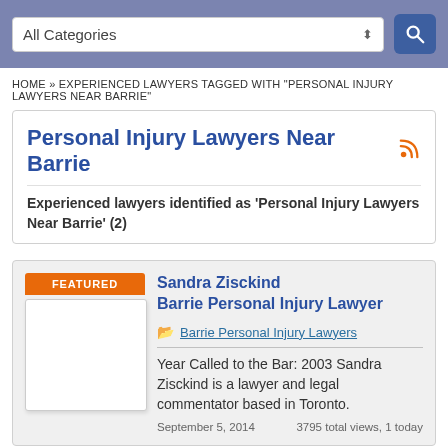[Figure (screenshot): Search bar with 'All Categories' dropdown and blue search button]
HOME » EXPERIENCED LAWYERS TAGGED WITH "PERSONAL INJURY LAWYERS NEAR BARRIE"
Personal Injury Lawyers Near Barrie
Experienced lawyers identified as 'Personal Injury Lawyers Near Barrie' (2)
Sandra Zisckind Barrie Personal Injury Lawyer
Barrie Personal Injury Lawyers
Year Called to the Bar: 2003 Sandra Zisckind is a lawyer and legal commentator based in Toronto.
September 5, 2014    3795 total views, 1 today